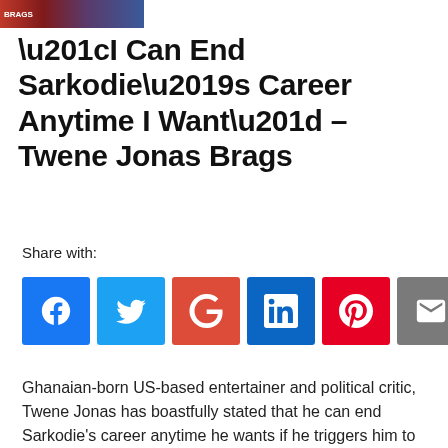[Figure (photo): Thumbnail image strip at top of article]
“I Can End Sarkodie’s Career Anytime I Want” – Twene Jonas Brags
Share with:
[Figure (infographic): Social share buttons: Facebook, Twitter, Google+, LinkedIn, Pinterest, Email, WhatsApp]
Ghanaian-born US-based entertainer and political critic, Twene Jonas has boastfully stated that he can end Sarkodie’s career anytime he wants if he triggers him to launch a smear campaign and his brand...